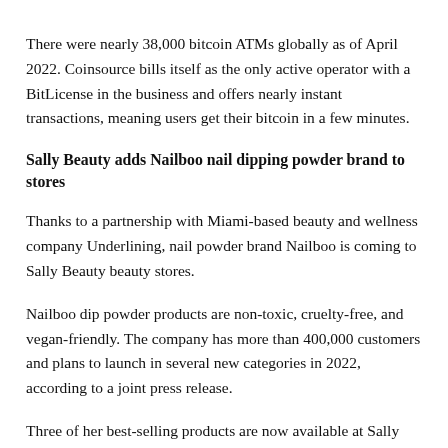There were nearly 38,000 bitcoin ATMs globally as of April 2022. Coinsource bills itself as the only active operator with a BitLicense in the business and offers nearly instant transactions, meaning users get their bitcoin in a few minutes.
Sally Beauty adds Nailboo nail dipping powder brand to stores
Thanks to a partnership with Miami-based beauty and wellness company Underlining, nail powder brand Nailboo is coming to Sally Beauty beauty stores.
Nailboo dip powder products are non-toxic, cruelty-free, and vegan-friendly. The company has more than 400,000 customers and plans to launch in several new categories in 2022, according to a joint press release.
Three of her best-selling products are now available at Sally Beauty online and in over 3,700 salon locations in the US and Canada, the...